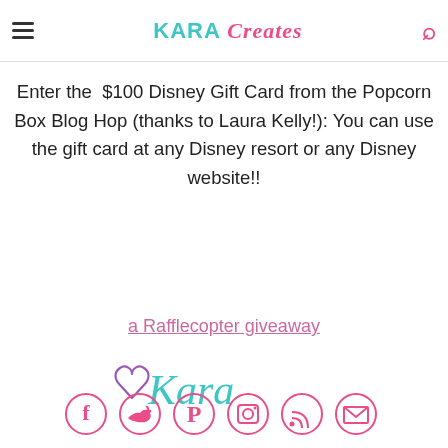KARA Creates
Enter the $100 Disney Gift Card from the Popcorn Box Blog Hop (thanks to Laura Kelly!): You can use the gift card at any Disney resort or any Disney website!!
a Rafflecopter giveaway
[Figure (illustration): Signature reading heart Kara in teal cursive script]
[Figure (illustration): Social media icons: Facebook, Twitter, Pinterest, Instagram, RSS, Email in pink]